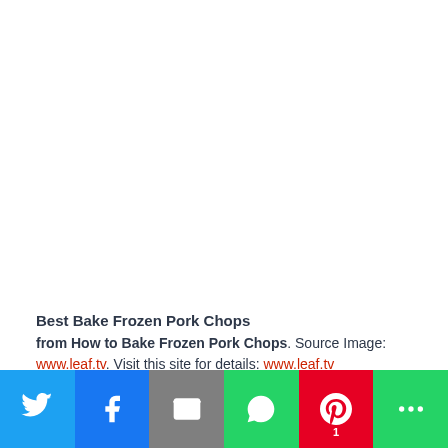[Figure (photo): White/blank image area at the top of the page, representing a food photo placeholder]
Best Bake Frozen Pork Chops
from How to Bake Frozen Pork Chops. Source Image: www.leaf.tv. Visit this site for details: www.leaf.tv
This dish has actually been handed down via numerous generations of my partner’s family. The cookies were constantly in his grandmother’s
[Figure (infographic): Social share bar with Twitter, Facebook, Email, WhatsApp, Pinterest (count: 1), and More buttons]